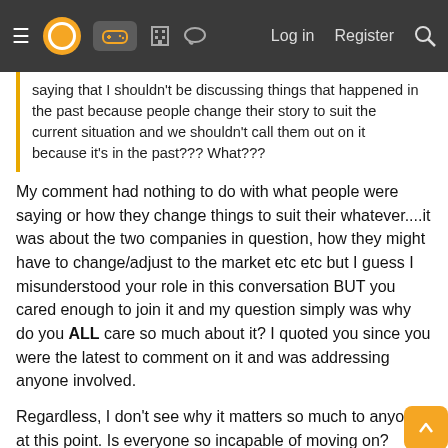Log in  Register
saying that I shouldn't be discussing things that happened in the past because people change their story to suit the current situation and we shouldn't call them out on it because it's in the past??? What???
My comment had nothing to do with what people were saying or how they change things to suit their whatever....it was about the two companies in question, how they might have to change/adjust to the market etc etc but I guess I misunderstood your role in this conversation BUT you cared enough to join it and my question simply was why do you ALL care so much about it? I quoted you since you were the latest to comment on it and was addressing anyone involved.

Regardless, I don't see why it matters so much to anyone at this point. Is everyone so incapable of moving on?
Last edited: Jan 14, 2025
DarkMage619